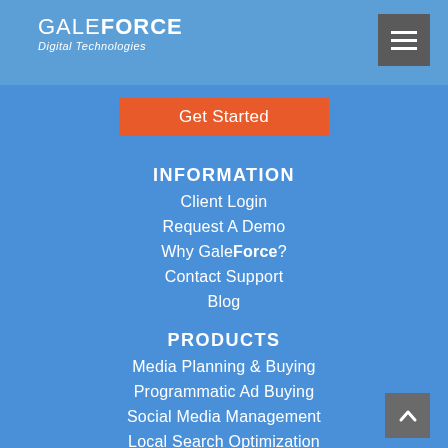GALEFORCE Digital Technologies
Get Started
INFORMATION
Client Login
Request A Demo
Why GaleForce?
Contact Support
Blog
PRODUCTS
Media Planning & Buying
Programmatic Ad Buying
Social Media Management
Local Search Optimization
Review Management